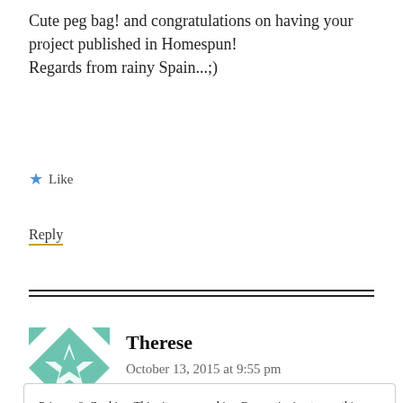Cute peg bag! and congratulations on having your project published in Homespun!
Regards from rainy Spain...;)
★ Like
Reply
Therese
October 13, 2015 at 9:55 pm
Privacy & Cookies: This site uses cookies. By continuing to use this website, you agree to their use.
To find out more, including how to control cookies, see here: Cookie Policy
Close and accept
as pretty as yours.